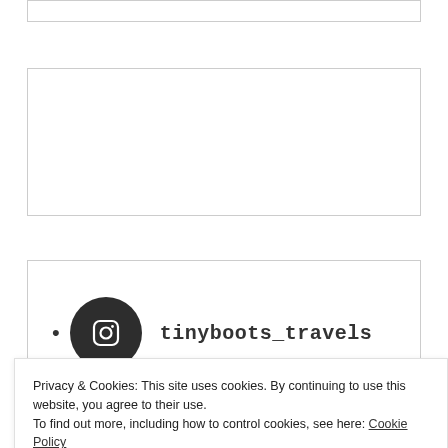[Figure (other): Top ad/content placeholder box with border]
[Figure (other): Middle ad/content placeholder box with border]
[Figure (other): Instagram widget box showing tinyboots_travels handle with Instagram icon and partial photo strip at bottom]
Privacy & Cookies: This site uses cookies. By continuing to use this website, you agree to their use.
To find out more, including how to control cookies, see here: Cookie Policy
Close and accept